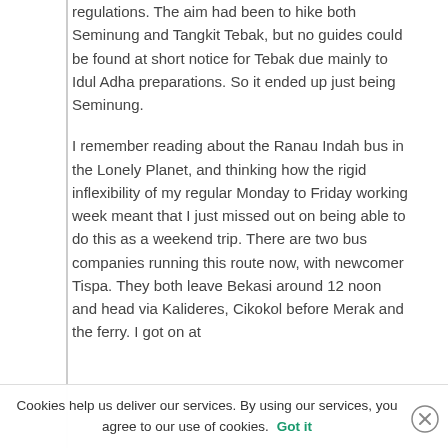regulations. The aim had been to hike both Seminung and Tangkit Tebak, but no guides could be found at short notice for Tebak due mainly to Idul Adha preparations. So it ended up just being Seminung.
I remember reading about the Ranau Indah bus in the Lonely Planet, and thinking how the rigid inflexibility of my regular Monday to Friday working week meant that I just missed out on being able to do this as a weekend trip. There are two bus companies running this route now, with newcomer Tispa. They both leave Bekasi around 12 noon and head via Kalideres, Cikokol before Merak and the ferry. I got on at
Cookies help us deliver our services. By using our services, you agree to our use of cookies. Got it